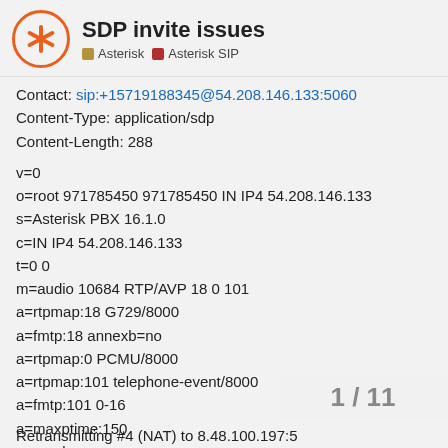SDP invite issues
Asterisk   Asterisk SIP
Contact: sip:+15719188345@54.208.146.133:5060
Content-Type: application/sdp
Content-Length: 288
v=0
o=root 971785450 971785450 IN IP4 54.208.146.133
s=Asterisk PBX 16.1.0
c=IN IP4 54.208.146.133
t=0 0
m=audio 10684 RTP/AVP 18 0 101
a=rtpmap:18 G729/8000
a=fmtp:18 annexb=no
a=rtpmap:0 PCMU/8000
a=rtpmap:101 telephone-event/8000
a=fmtp:101 0-16
a=maxptime:150
a=sendrecv
1 / 11
Retransmitting #4 (NAT) to 8.48.100.197:5